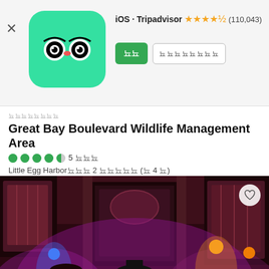iOS · Tripadvisor ★★★★½ (110,043)
[Figure (logo): Tripadvisor app icon - green rounded square with owl face logo]
뇌뇨뇨뇨뇨뇨뇨
Great Bay Boulevard Wildlife Management Area
●●●●◐ 5 뇨뇨뇨
Little Egg Harbor뇨뇨뇨 2 뇨뇨뇨뇨뇨 (뇨 4 뇨)
[Figure (photo): Live music performance in an ornate bar/venue with stained glass windows. Three musicians on stage illuminated by purple/pink stage lights. Decorative Victorian-style interior.]
뇨뇨뇨뇨뇨뇨
The Lizzie Rose Music Room